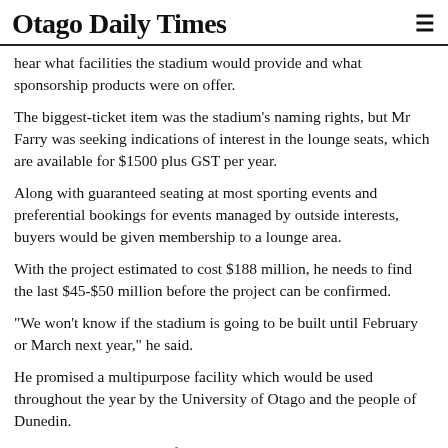Otago Daily Times
hear what facilities the stadium would provide and what sponsorship products were on offer.
The biggest-ticket item was the stadium's naming rights, but Mr Farry was seeking indications of interest in the lounge seats, which are available for $1500 plus GST per year.
Along with guaranteed seating at most sporting events and preferential bookings for events managed by outside interests, buyers would be given membership to a lounge area.
With the project estimated to cost $188 million, he needs to find the last $45-$50 million before the project can be confirmed.
"We won't know if the stadium is going to be built until February or March next year," he said.
He promised a multipurpose facility which would be used throughout the year by the University of Otago and the people of Dunedin.
As well as being a venue for sports events and concerts as